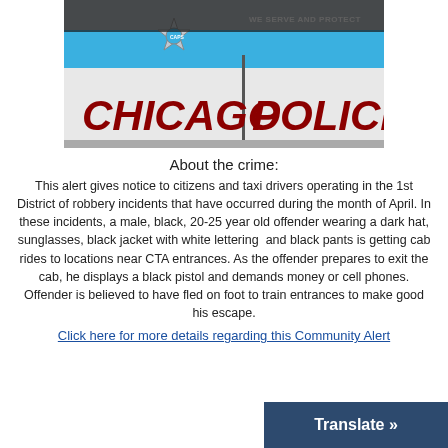[Figure (photo): Chicago Police car door showing the CAPS star badge logo and text reading 'CHICAGO POLICE' in large red letters, with blue stripe and 'WE SERVE AND PROTECT' text in white on blue background.]
About the crime:
This alert gives notice to citizens and taxi drivers operating in the 1st District of robbery incidents that have occurred during the month of April. In these incidents, a male, black, 20-25 year old offender wearing a dark hat, sunglasses, black jacket with white lettering and black pants is getting cab rides to locations near CTA entrances. As the offender prepares to exit the cab, he displays a black pistol and demands money or cell phones. Offender is believed to have fled on foot to train entrances to make good his escape.
Click here for more details regarding this Community Alert
Translate »